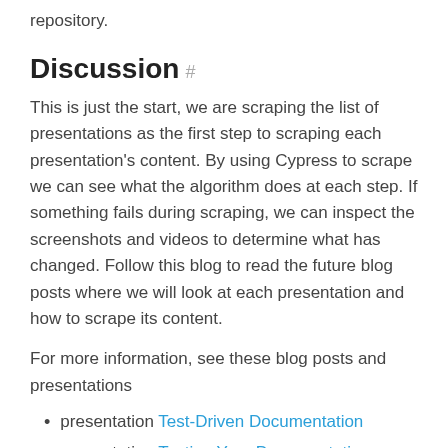repository.
Discussion #
This is just the start, we are scraping the list of presentations as the first step to scraping each presentation's content. By using Cypress to scrape we can see what the algorithm does at each step. If something fails during scraping, we can inspect the screenshots and videos to determine what has changed. Follow this blog to read the future blog posts where we will look at each presentation and how to scrape its content.
For more information, see these blog posts and presentations
presentation Test-Driven Documentation
presentation Testing Your Documentation Search
presentation Find Me If You Can
blog post Scrape Static Site with Algolia
blog post Search across my blog posts and github